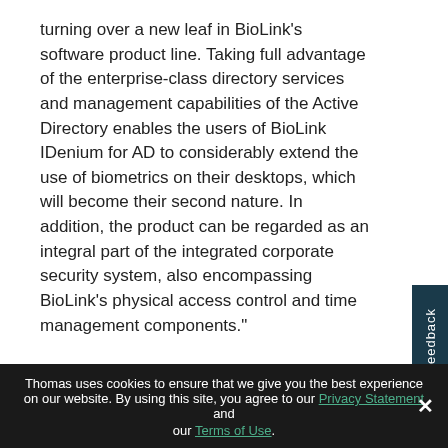turning over a new leaf in BioLink's software product line. Taking full advantage of the enterprise-class directory services and management capabilities of the Active Directory enables the users of BioLink IDenium for AD to considerably extend the use of biometrics on their desktops, which will become their second nature. In addition, the product can be regarded as an integral part of the integrated corporate security system, also encompassing BioLink's physical access control and time management components."
About BioLink
BioLink, a leading provider of biometric identification solutions, develops, manufactures, and markets advanced fingerprint biometric products. The Company's goods and services form the core of biometric identification and
Thomas uses cookies to ensure that we give you the best experience on our website. By using this site, you agree to our Privacy Statement and our Terms of Use.